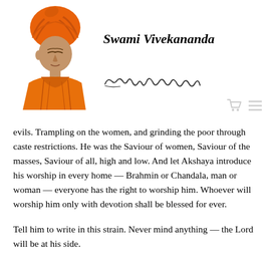[Figure (photo): Portrait of Swami Vivekananda wearing orange robes and orange turban, facing slightly downward]
Swami Vivekananda
[Figure (illustration): Handwritten cursive signature reading 'Swami Vivekananda']
evils. Trampling on the women, and grinding the poor through caste restrictions. He was the Saviour of women, Saviour of the masses, Saviour of all, high and low. And let Akshaya introduce his worship in every home — Brahmin or Chandala, man or woman — everyone has the right to worship him. Whoever will worship him only with devotion shall be blessed for ever.
Tell him to write in this strain. Never mind anything — the Lord will be at his side.